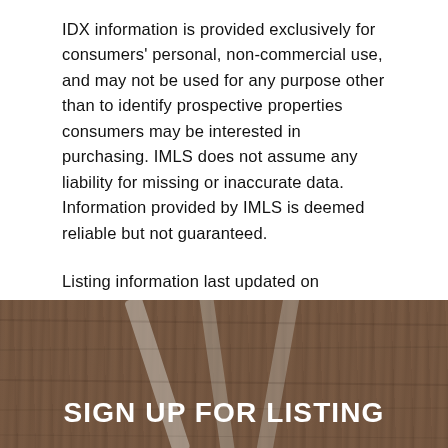IDX information is provided exclusively for consumers' personal, non-commercial use, and may not be used for any purpose other than to identify prospective properties consumers may be interested in purchasing. IMLS does not assume any liability for missing or inaccurate data. Information provided by IMLS is deemed reliable but not guaranteed.
Listing information last updated on September 1st, 2022 at 12:38am MDT.
[Figure (photo): Dark brown wooden background with diagonal shapes (possibly utensils or tools) visible against the wood grain texture. White bold text 'SIGN UP FOR LISTING' overlaid at the bottom.]